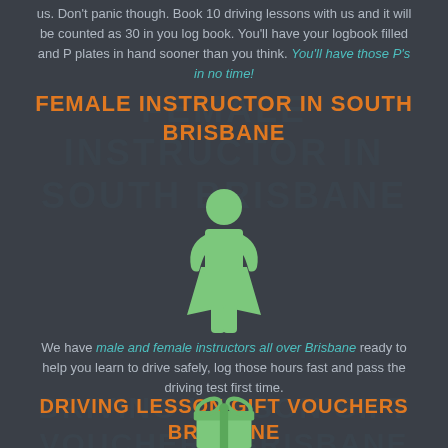us. Don't panic though. Book 10 driving lessons with us and it will be counted as 30 in you log book. You'll have your logbook filled and P plates in hand sooner than you think. You'll have those P's in no time!
FEMALE INSTRUCTOR IN SOUTH BRISBANE
[Figure (illustration): Green silhouette icon of a female person (woman symbol)]
We have male and female instructors all over Brisbane ready to help you learn to drive safely, log those hours fast and pass the driving test first time.
DRIVING LESSON GIFT VOUCHERS BRISBANE
[Figure (illustration): Green gift box icon with ribbon/bow on top, partially visible at bottom of page]